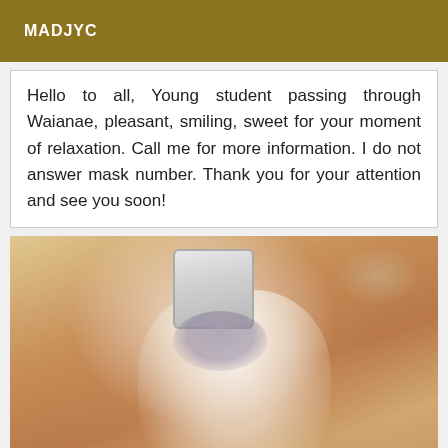MADJYC
Hello to all, Young student passing through Waianae, pleasant, smiling, sweet for your moment of relaxation. Call me for more information. I do not answer mask number. Thank you for your attention and see you soon!
[Figure (photo): Mirror selfie photo of a person wearing a white lace outfit and a decorative necklace, holding a smartphone to take the photo.]